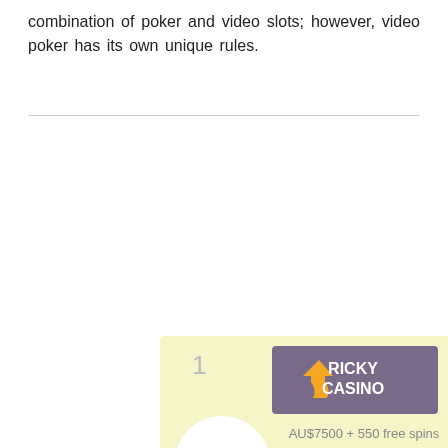combination of poker and video slots; however, video poker has its own unique rules.
[Figure (infographic): Casino review card for Ricky Casino on a pale yellow background. Shows ranking number 1, Ricky Casino logo with orange R icon on purple background, bonus text 'AU$7500 + 550 free spins', a white circle with '96%' rating, a 'Read Review' link in blue, and a green 'GET BONUS' button.]